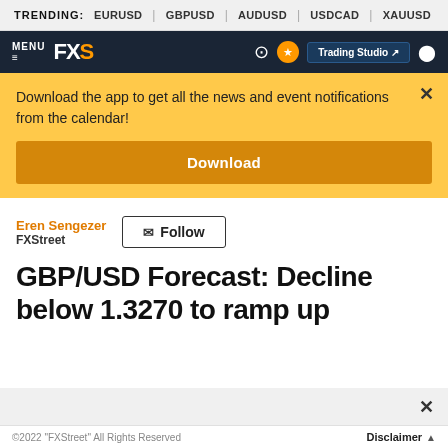TRENDING: EURUSD | GBPUSD | AUDUSD | USDCAD | XAUUSD
[Figure (screenshot): FXStreet navigation bar with MENU, FXS logo, and Trading Studio button]
Download the app to get all the news and event notifications from the calendar!
Download
Eren Sengezer
FXStreet
Follow
GBP/USD Forecast: Decline below 1.3270 to ramp up
©2022 "FXStreet" All Rights Reserved     Disclaimer ▲